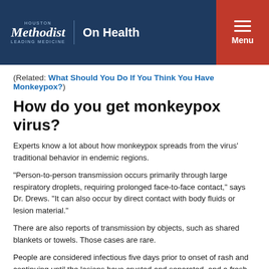Houston Methodist | On Health | Menu
(Related: What Should You Do If You Think You Have Monkeypox?)
How do you get monkeypox virus?
Experts know a lot about how monkeypox spreads from the virus' traditional behavior in endemic regions.
"Person-to-person transmission occurs primarily through large respiratory droplets, requiring prolonged face-to-face contact," says Dr. Drews. "It can also occur by direct contact with body fluids or lesion material."
There are also reports of transmission by objects, such as shared blankets or towels. Those cases are rare.
People are considered infectious five days prior to onset of rash and continuing until the lesions have crusted and separated, and a fresh layer of skin has formed underneath. This typically takes between